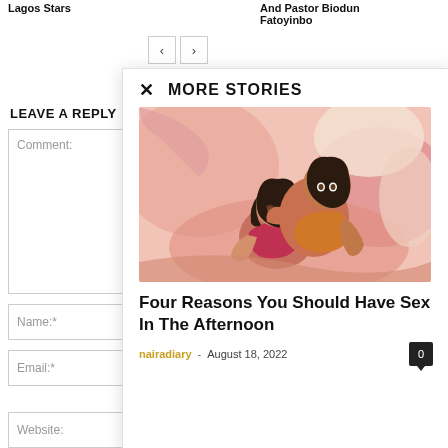Lagos Stars
And Pastor Biodun Fatoyinbo
LEAVE A REPLY
Comment:
Name:*
Email:*
Website:
MORE STORIES
[Figure (illustration): Illustration of two women embracing, in warm pink and peach tones]
Four Reasons You Should Have Sex In The Afternoon
nairadiary - August 18, 2022